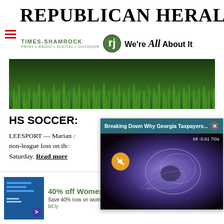REPUBLICAN HERALD
[Figure (logo): Times-Shamrock logo with shamrock icon and tagline 'Print · Radio · Digital · Outdoor' and 'We're All About It']
[Figure (photo): Close-up photo of green grass blades]
HS SOCCER:
LEESPORT — Marian absorbed a non-league loss on the... Saturday. Read more
[Figure (screenshot): Video popup overlay with title 'Breaking Down Why Georgia Taxpayers...' showing ultrasound image with mute button and close button]
[Figure (photo): Mountain/rocky landscape photo in black and white]
[Figure (infographic): Ad banner: 40% off Womens Clothing - Save 40% now on women clothing at Ashley Stewart - bit.ly]